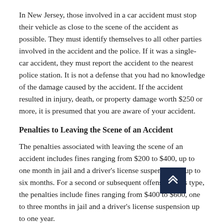In New Jersey, those involved in a car accident must stop their vehicle as close to the scene of the accident as possible. They must identify themselves to all other parties involved in the accident and the police. If it was a single-car accident, they must report the accident to the nearest police station. It is not a defense that you had no knowledge of the damage caused by the accident. If the accident resulted in injury, death, or property damage worth $250 or more, it is presumed that you are aware of your accident.
Penalties to Leaving the Scene of an Accident
The penalties associated with leaving the scene of an accident includes fines ranging from $200 to $400, up to one month in jail and a driver’s license suspension of up to six months. For a second or subsequent offense of this type, the penalties include fines ranging from $400 to $600, one to three months in jail and a driver’s license suspension up to one year.
Leaving the scene of an accident where serious bodily injury occurred is an indictable offense. In New Jersey, it is a third-degree crime. Serious bodily injury is defined as any injury that